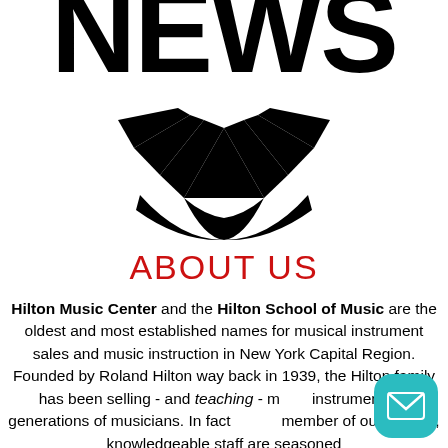[Figure (logo): Partial logo showing large bold 'NEWS' text at top and a black geometric fan/wing shape below it]
ABOUT US
Hilton Music Center and the Hilton School of Music are the oldest and most established names for musical instrument sales and music instruction in New York Capital Region. Founded by Roland Hilton way back in 1939, the Hilton family has been selling - and teaching - music instruments to generations of musicians. In fact, every member of our friendly, knowledgeable staff are seasoned